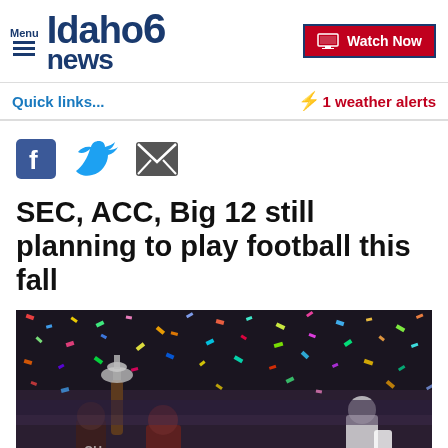Menu | Idaho News 6 | Watch Now
Quick links...
⚡ 1 weather alerts
[Figure (other): Social media icons: Facebook, Twitter, Email]
SEC, ACC, Big 12 still planning to play football this fall
[Figure (photo): Football players celebrating with trophy amid colorful confetti, players wearing Oklahoma Sooners uniforms]